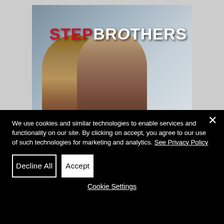[Figure (photo): Movie poster for Step Brothers showing two men. The title 'STEP BROTHERS' appears in the upper right with 'STEP' in red and 'BROTHERS' in white bold text. Background is grayish-blue.]
We use cookies and similar technologies to enable services and functionality on our site. By clicking on accept, you agree to our use of such technologies for marketing and analytics. See Privacy Policy
Decline All
Accept
Cookie Settings